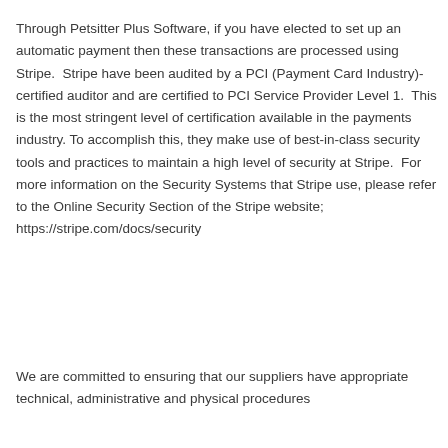Through Petsitter Plus Software, if you have elected to set up an automatic payment then these transactions are processed using Stripe.  Stripe have been audited by a PCI (Payment Card Industry)-certified auditor and are certified to PCI Service Provider Level 1.  This is the most stringent level of certification available in the payments industry. To accomplish this, they make use of best-in-class security tools and practices to maintain a high level of security at Stripe.  For more information on the Security Systems that Stripe use, please refer to the Online Security Section of the Stripe website; https://stripe.com/docs/security
We are committed to ensuring that our suppliers have appropriate technical, administrative and physical procedures